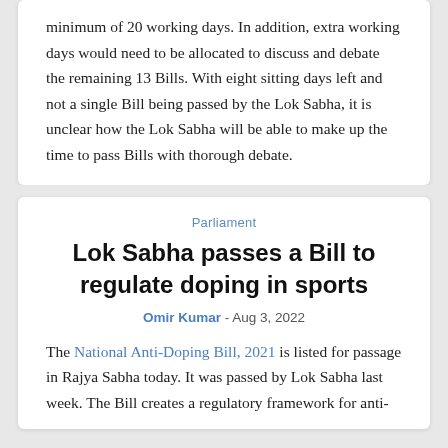minimum of 20 working days. In addition, extra working days would need to be allocated to discuss and debate the remaining 13 Bills. With eight sitting days left and not a single Bill being passed by the Lok Sabha, it is unclear how the Lok Sabha will be able to make up the time to pass Bills with thorough debate.
Parliament
Lok Sabha passes a Bill to regulate doping in sports
Omir Kumar - Aug 3, 2022
The National Anti-Doping Bill, 2021 is listed for passage in Rajya Sabha today. It was passed by Lok Sabha last week. The Bill creates a regulatory framework for anti-